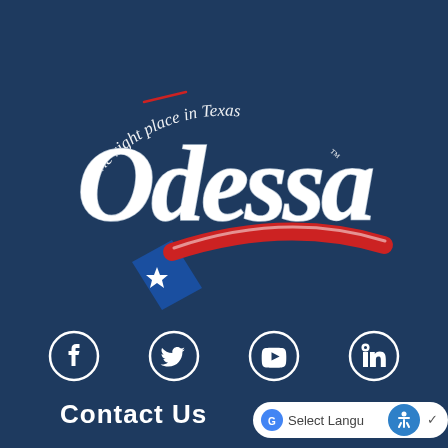[Figure (logo): City of Odessa Texas logo with tagline 'The right place in Texas™', stylized 'Odessa' text in white script, and a shooting star graphic in red and blue with a white star]
[Figure (infographic): Social media icons: Facebook, Twitter, YouTube, LinkedIn — white circular icons on navy background]
Contact Us
[Figure (screenshot): Google Translate 'Select Language' widget overlay and accessibility icon (blue circle with person figure)]